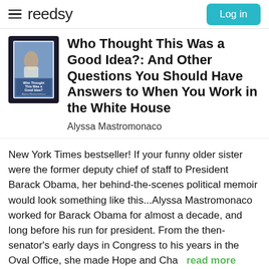reedsy | Log in
[Figure (illustration): Book cover thumbnail for 'Who Thought This Was a Good Idea?' displayed on an e-reader device]
Who Thought This Was a Good Idea?: And Other Questions You Should Have Answers to When You Work in the White House
Alyssa Mastromonaco
New York Times bestseller! If your funny older sister were the former deputy chief of staff to President Barack Obama, her behind-the-scenes political memoir would look something like this...Alyssa Mastromonaco worked for Barack Obama for almost a decade, and long before his run for president. From the then-senator's early days in Congress to his years in the Oval Office, she made Hope and Cha  read more